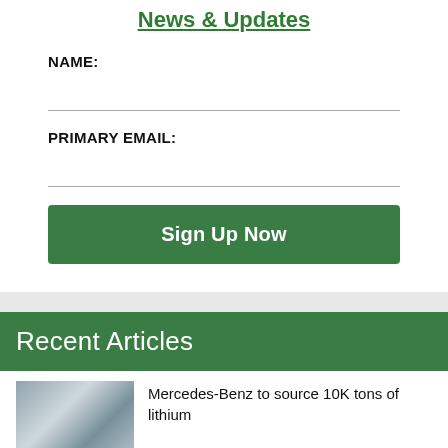News & Updates
NAME:
PRIMARY EMAIL:
Sign Up Now
Recent Articles
[Figure (photo): Thumbnail photo for Mercedes-Benz article]
Mercedes-Benz to source 10K tons of lithium